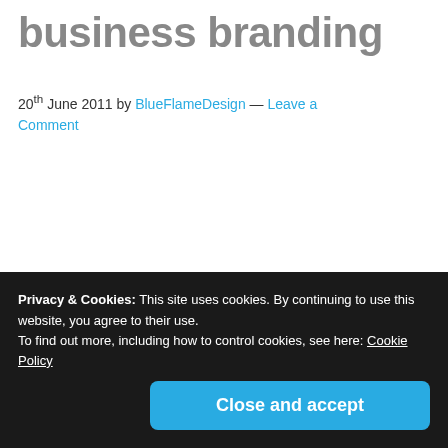business branding
20th June 2011 by BlueFlameDesign — Leave a Comment
Privacy & Cookies: This site uses cookies. By continuing to use this website, you agree to their use.
To find out more, including how to control cookies, see here: Cookie Policy
Close and accept